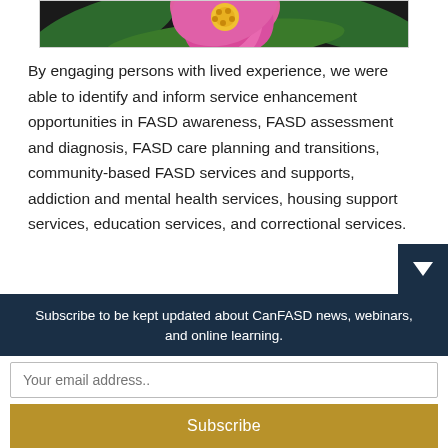[Figure (photo): Partial view of a pink wild rose flower with green leaves against a dark background, shown at the top of the page clipped at the bottom.]
By engaging persons with lived experience, we were able to identify and inform service enhancement opportunities in FASD awareness, FASD assessment and diagnosis, FASD care planning and transitions, community-based FASD services and supports, addiction and mental health services, housing support services, education services, and correctional services.
Subscribe to be kept updated about CanFASD news, webinars, and online learning.
Your email address..
Subscribe